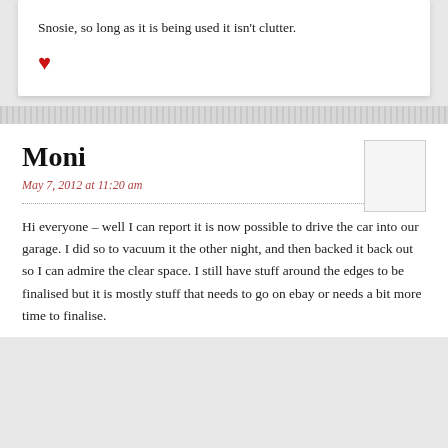Snosie, so long as it is being used it isn’t clutter.
[Figure (illustration): Red heart symbol]
Moni
May 7, 2012 at 11:20 am
[Figure (illustration): Avatar placeholder box]
Hi everyone – well I can report it is now possible to drive the car into our garage. I did so to vacuum it the other night, and then backed it back out so I can admire the clear space. I still have stuff around the edges to be finalised but it is mostly stuff that needs to go on ebay or needs a bit more time to finalise.